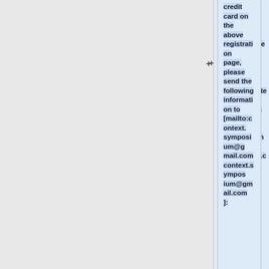credit card on the above registration page, please send the following information to [mailto:context.symposium@gmail.com context.symposium@gmail.com]:
* Registration type (faculty, postdoc, or student/staff)
* Preferred salutation (Professor, Dr., Mrs, Ms., Mr.)